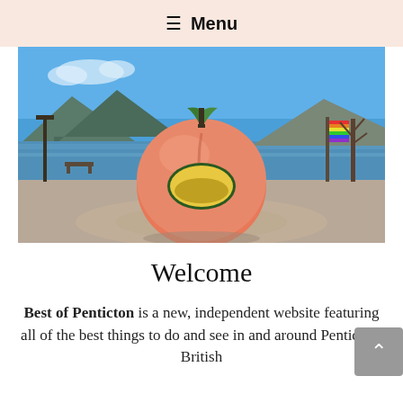≡ Menu
[Figure (photo): Large peach sculpture/statue on a circular paved plaza with a lake, mountains, and blue sky in the background. A rainbow flag and bare trees are visible to the right.]
Welcome
Best of Penticton is a new, independent website featuring all of the best things to do and see in and around Penticton, British